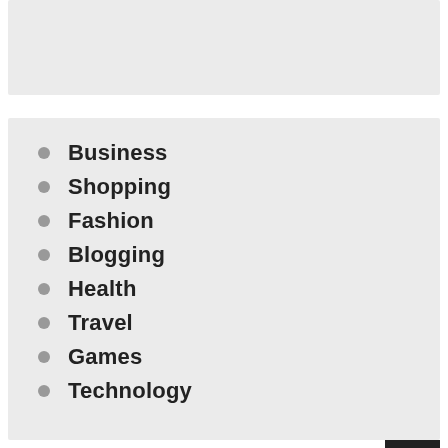Business
Shopping
Fashion
Blogging
Health
Travel
Games
Technology